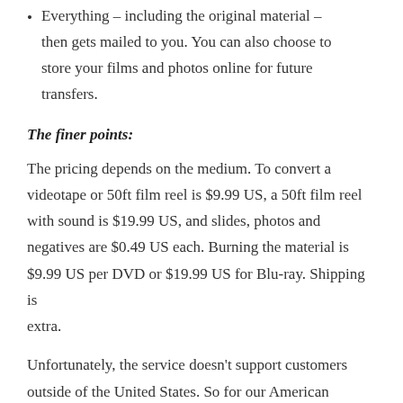Everything – including the original material – then gets mailed to you. You can also choose to store your films and photos online for future transfers.
The finer points:
The pricing depends on the medium. To convert a videotape or 50ft film reel is $9.99 US, a 50ft film reel with sound is $19.99 US, and slides, photos and negatives are $0.49 US each. Burning the material is $9.99 US per DVD or $19.99 US for Blu-ray. Shipping is extra.
Unfortunately, the service doesn't support customers outside of the United States. So for our American readers, give it a try. For us Canadians, we'll keep our fingers crossed for the day iMemories becomes